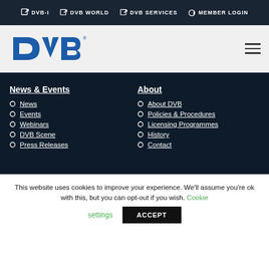DVB-I  DVB WORLD  DVB SERVICES  MEMBER LOGIN
[Figure (logo): DVB logo in blue, with hamburger menu icon on the right]
News & Events
News
Events
Webinars
DVB Scene
Press Releases
About
About DVB
Policies & Procedures
Licensing Programmes
History
Contact
This website uses cookies to improve your experience. We'll assume you're ok with this, but you can opt-out if you wish. Cookie settings  ACCEPT